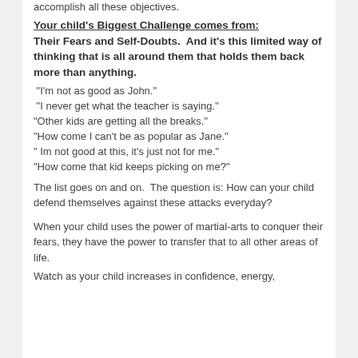accomplish all these objectives.
Your child's Biggest Challenge comes from: Their Fears and Self-Doubts.  And it's this limited way of thinking that is all around them that holds them back more than anything.
“I’m not as good as John.”
“I never get what the teacher is saying.”
“Other kids are getting all the breaks.”
“How come I can’t be as popular as Jane.”
“ Im not good at this, it’s just not for me.”
“How come that kid keeps picking on me?”
The list goes on and on.  The question is: How can your child defend themselves against these attacks everyday?
When your child uses the power of martial-arts to conquer their fears, they have the power to transfer that to all other areas of life.
Watch as your child increases in confidence, energy,